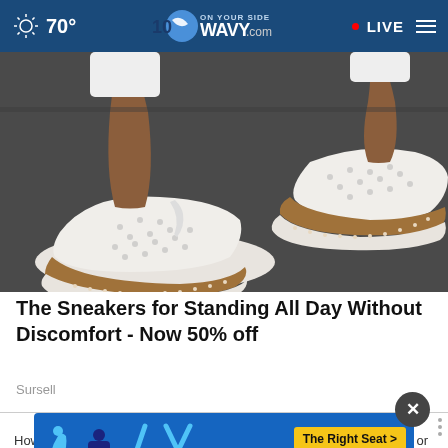70° WAVY.com ON YOUR SIDE LIVE
[Figure (photo): Close-up photo of feet wearing white perforated slip-on sneakers with brown espadrille-style soles on dark pavement]
The Sneakers for Standing All Day Without Discomfort - Now 50% off
Sursell
WHAT DO YOU THINK?
[Figure (infographic): NHTSA The Right Seat advertisement banner with blue background showing child seat safety icons and a yellow button reading 'The Right Seat >' with NHTSA logo]
How classified government documents to have been lost or